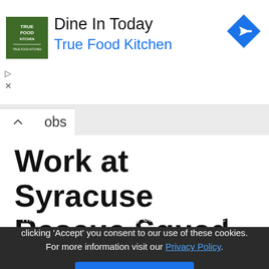[Figure (screenshot): Advertisement banner for True Food Kitchen: logo (green square with TRUE FOOD KITCHEN text), ad headline 'Dine In Today', subtitle 'True Food Kitchen', blue navigation diamond icon on the right, with play and close controls below logo]
obs
Work at Syracuse Rescue Squad
This website uses cookies. By continuing to browse or by clicking 'Accept' you consent to our use of these cookies. For more information visit our Privacy Policy.
Accept and close